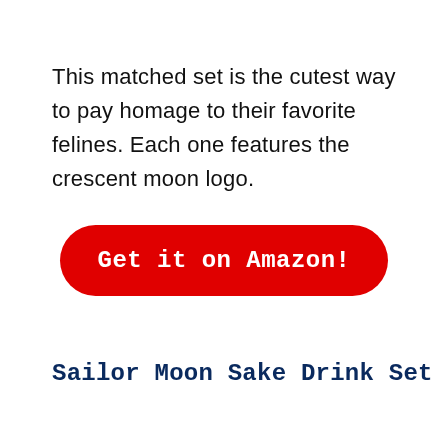This matched set is the cutest way to pay homage to their favorite felines. Each one features the crescent moon logo.
[Figure (other): Red rounded rectangle button with white bold monospace text reading 'Get it on Amazon!']
Sailor Moon Sake Drink Set